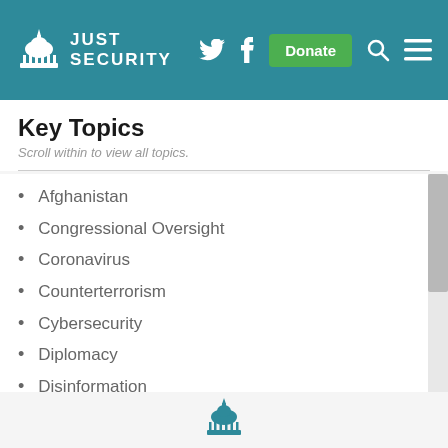JUST SECURITY
Key Topics
Scroll within to view all topics.
Afghanistan
Congressional Oversight
Coronavirus
Counterterrorism
Cybersecurity
Diplomacy
Disinformation
Immigration
Intelligence activities
International Criminal...